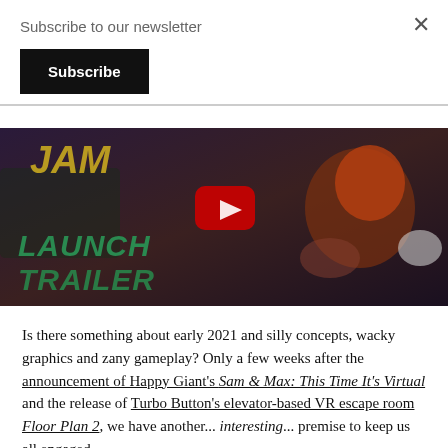Subscribe to our newsletter
Subscribe
[Figure (screenshot): YouTube video thumbnail showing a game launch trailer. The image has a dark purple/brown background with animated cartoon characters. Bold text in the lower left reads 'LAUNCH TRAILER' and partially visible text at top reads 'JAM'. A red YouTube play button is visible in the center.]
Is there something about early 2021 and silly concepts, wacky graphics and zany gameplay? Only a few weeks after the announcement of Happy Giant's Sam & Max: This Time It's Virtual and the release of Turbo Button's elevator-based VR escape room Floor Plan 2, we have another... interesting... premise to keep us all engaged.